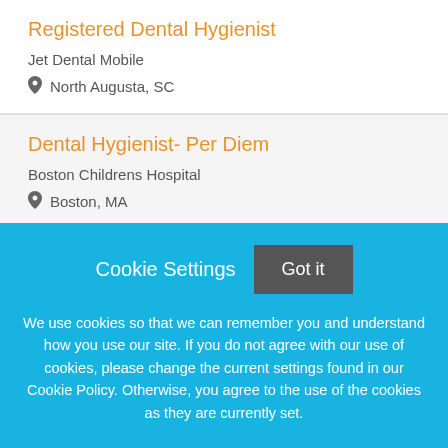Registered Dental Hygienist
Jet Dental Mobile
North Augusta, SC
Dental Hygienist- Per Diem
Boston Childrens Hospital
Boston, MA
Dental Hygienist
Cookie Settings
Got it
We use cookies so that we can remember you and understand how you use our site. If you do not agree with our use of cookies, please change the current settings found in our Cookie Policy. Otherwise, you agree to the use of the cookies as they are currently set.